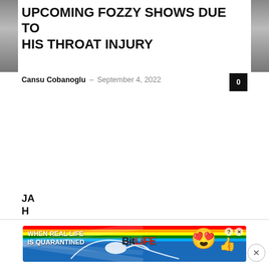[Figure (photo): Left edge photo strip, grayscale]
[Figure (photo): Right edge photo strip, grayscale]
UPCOMING FOZZY SHOWS DUE TO HIS THROAT INJURY
Cansu Cobanoglu – September 4, 2022
[Figure (screenshot): BitLife advertisement banner: 'WHEN REAL LIFE IS QUARANTINED' with rainbow background and BitLife branding with emoji character]
JA H